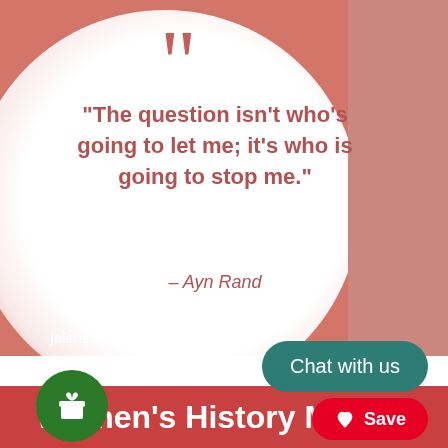[Figure (illustration): Pink/salmon background with a large white radial circle. Large decorative open quotation marks in salmon/rose color at top. Quote text: "The question isn't who's going to let me; it's who is going to stop me." Attribution: - Ayn Rand. Website: jalensbakery.com in white at bottom left.]
31 Quotes from Women for Women Hi...
Published by
Jalen's Bakery
Chat with us
Women's History M...
Save